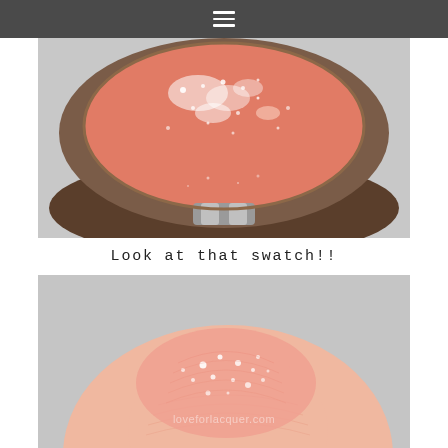≡
[Figure (photo): Close-up macro photo of a round compact of coral/peach shimmer blush with glitter, in a brown/tan compact case with silver hinge, on a light grey background]
Look at that swatch!!
[Figure (photo): Close-up macro photo of a coral/peach shimmer blush swatch on a fingertip, showing the skin texture and glitter particles, on a light grey background. Watermark text reads 'loveforlacquer.com']